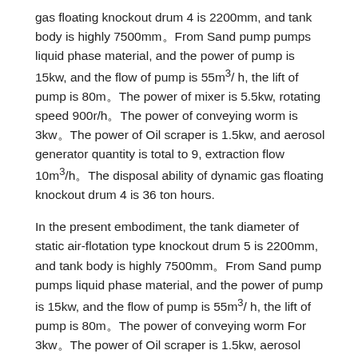gas floating knockout drum 4 is 2200mm, and tank body is highly 7500mm。From Sand pump pumps liquid phase material, and the power of pump is 15kw, and the flow of pump is 55m³/ h, the lift of pump is 80m。The power of mixer is 5.5kw, rotating speed 900r/h。The power of conveying worm is 3kw。The power of Oil scraper is 1.5kw, and aerosol generator quantity is total to 9, extraction flow 10m³/h。The disposal ability of dynamic gas floating knockout drum 4 is 36 ton hours.
In the present embodiment, the tank diameter of static air-flotation type knockout drum 5 is 2200mm, and tank body is highly 7500mm。From Sand pump pumps liquid phase material, and the power of pump is 15kw, and the flow of pump is 55m³/ h, the lift of pump is 80m。The power of conveying worm For 3kw。The power of Oil scraper is 1.5kw, aerosol generator quantity totally 9, extraction flow 10m³/h。Static air-flotation type separation The disposal ability of tank 5 is 36 ton hours.
In the present embodiment, the tank diameter that swash plate aqueous phase desilts tank 6 is 2200mm, and tank